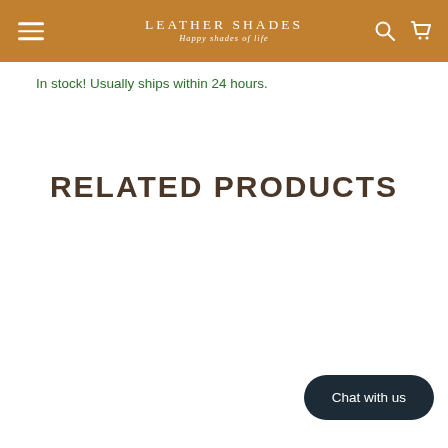LEATHER SHADES — Happy shades of life
In stock! Usually ships within 24 hours.
RELATED PRODUCTS
Chat with us